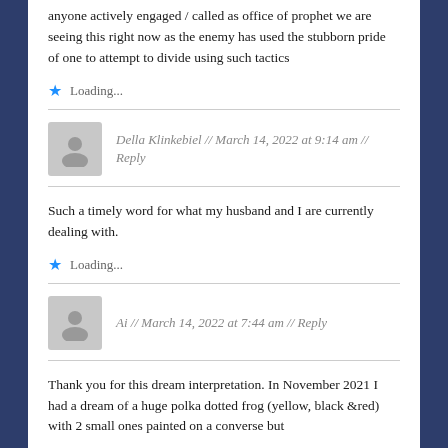anyone actively engaged / called as office of prophet we are seeing this right now as the enemy has used the stubborn pride of one to attempt to divide using such tactics
Loading...
Della Klinkebiel // March 14, 2022 at 9:14 am // Reply
Such a timely word for what my husband and I are currently dealing with.
Loading...
Ai // March 14, 2022 at 7:44 am // Reply
Thank you for this dream interpretation. In November 2021 I had a dream of a huge polka dotted frog (yellow, black &red) with 2 small ones painted on a converse but